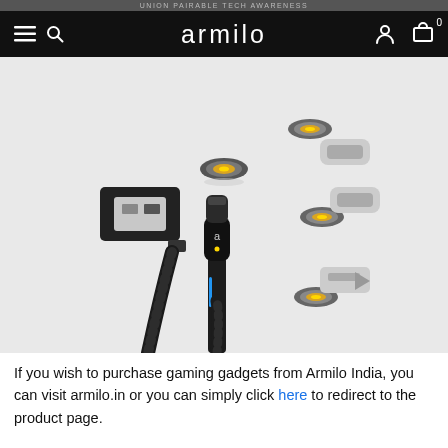armilo
[Figure (photo): Product photo of a magnetic USB charging cable with interchangeable magnetic connector tips (USB-A plug on one end, magnetic connector body in the middle, and three magnetic tip adapters shown separately on the right side — two USB-C type and one micro-USB type). The cable is black braided. Background is light grey.]
If you wish to purchase gaming gadgets from Armilo India, you can visit armilo.in or you can simply click here to redirect to the product page.